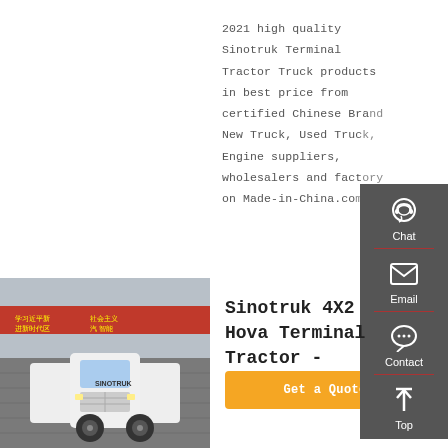2021 high quality Sinotruk Terminal Tractor Truck products in best price from certified Chinese Brand New Truck, Used Truck Engine suppliers, wholesalers and factory on Made-in-China.com
Get a Quote
[Figure (other): Dark gray sidebar panel with Chat (headset icon), Email (envelope icon), Contact (speech bubble icon), and Top (arrow icon) buttons, separated by red dividers]
[Figure (photo): Photo of a white Sinotruk HOVA terminal tractor truck parked in front of a red banner with Chinese text]
Sinotruk 4X2 Hova Terminal Tractor -